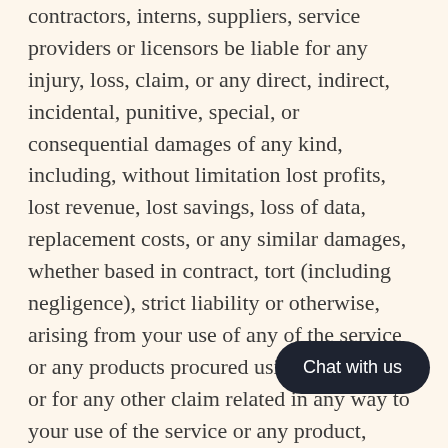contractors, interns, suppliers, service providers or licensors be liable for any injury, loss, claim, or any direct, indirect, incidental, punitive, special, or consequential damages of any kind, including, without limitation lost profits, lost revenue, lost savings, loss of data, replacement costs, or any similar damages, whether based in contract, tort (including negligence), strict liability or otherwise, arising from your use of any of the service or any products procured using the service, or for any other claim related in any way to your use of the service or any product, including, but not limited to, any errors or omissions in any content, or any loss or damage of any kind incurred as a result of the use of the service or any content (or product) posted, transmitted, or otherwise made available via even if advised of their possibili some states or jurisdictions do not allow the exclusion or the limitation of liability for